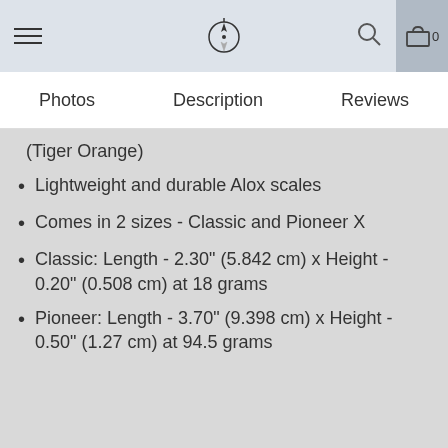Navigation bar with hamburger menu, compass logo, search icon, and cart (0)
Photos | Description | Reviews
(Tiger Orange)
Lightweight and durable Alox scales
Comes in 2 sizes - Classic and Pioneer X
Classic: Length - 2.30" (5.842 cm) x Height - 0.20" (0.508 cm) at 18 grams
Pioneer: Length - 3.70" (9.398 cm) x Height - 0.50" (1.27 cm) at 94.5 grams